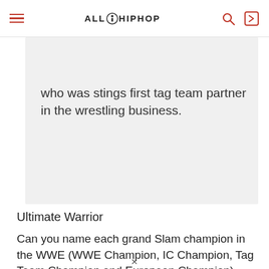ALL HIP HOP
who was stings first tag team partner in the wrestling business.
Ultimate Warrior
Can you name each grand Slam champion in the WWE (WWE Champion, IC Champion, Tag Team Champion and European Champion)